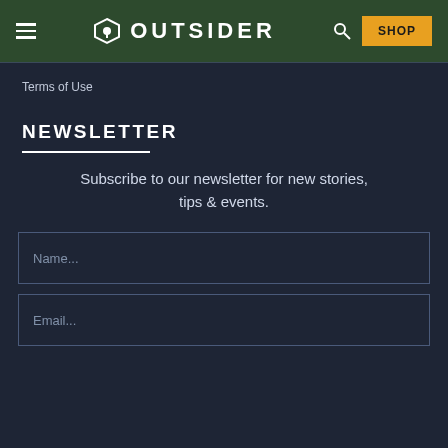OUTSIDER — SHOP
Terms of Use
NEWSLETTER
Subscribe to our newsletter for new stories, tips & events.